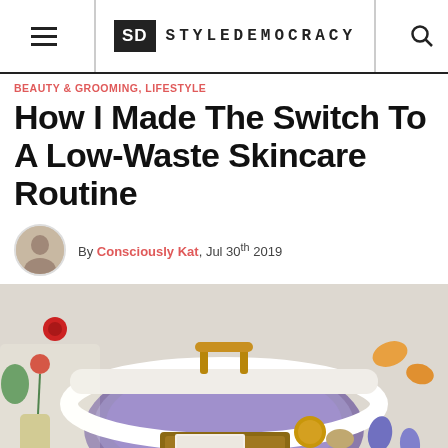StyleDemocracy
BEAUTY & GROOMING, LIFESTYLE
How I Made The Switch To A Low-Waste Skincare Routine
By Consciously Kat, Jul 30th 2019
[Figure (photo): Overhead view of a bathtub filled with purple/violet water, surrounded by flowers (tulips, irises, orange blossoms), a wooden bath caddy with candles and a book, and various decorative items against a floral wallpaper background.]